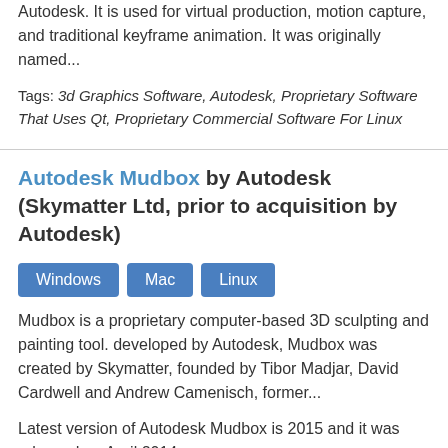Autodesk. It is used for virtual production, motion capture, and traditional keyframe animation. It was originally named...
Tags: 3d Graphics Software, Autodesk, Proprietary Software That Uses Qt, Proprietary Commercial Software For Linux
Autodesk Mudbox by Autodesk (Skymatter Ltd, prior to acquisition by Autodesk)
Windows  Mac  Linux
Mudbox is a proprietary computer-based 3D sculpting and painting tool. developed by Autodesk, Mudbox was created by Skymatter, founded by Tibor Madjar, David Cardwell and Andrew Camenisch, former...
Latest version of Autodesk Mudbox is 2015 and it was released on April 2014.